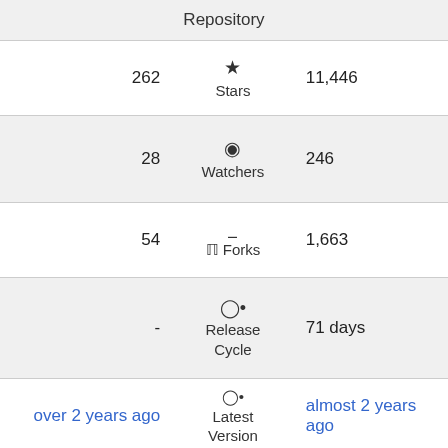| Left | Center | Right |
| --- | --- | --- |
|  | Repository |  |
| 262 | ★ Stars | 11,446 |
| 28 | 👁 Watchers | 246 |
| 54 | ⑂ Forks | 1,663 |
| - | 🕐 Release Cycle | 71 days |
| over 2 years ago | 🕐 Latest Version | almost 2 years ago |
| 6 days ago | 🕐 Last Commit | 3 days ago |
|  | More |  |